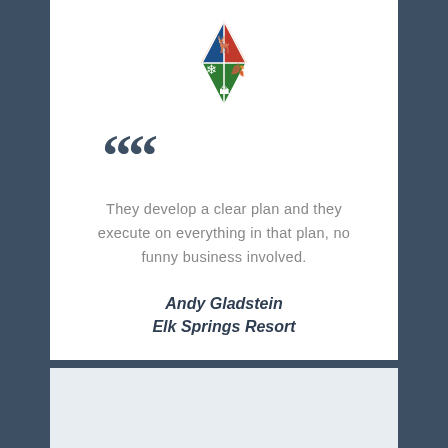[Figure (logo): Diamond-shaped four-quadrant logo with blue (snowflake), orange (elk/deer), red (leaf), and green (landscape) quadrants]
““
They develop a clear plan and they execute on everything in that plan, no funny business involved.
Andy Gladstein
Elk Springs Resort
[Figure (illustration): Orange briefcase illustration, partially visible at bottom of page]